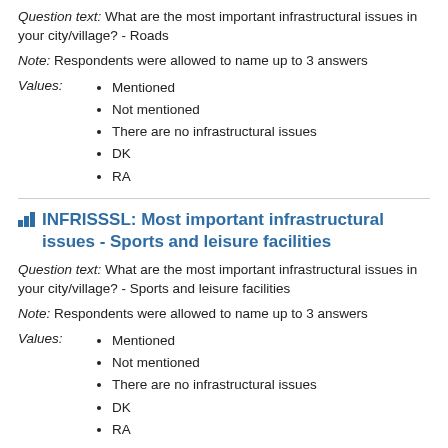Question text: What are the most important infrastructural issues in your city/village? - Roads
Note: Respondents were allowed to name up to 3 answers
Mentioned
Not mentioned
There are no infrastructural issues
DK
RA
INFRISSSL: Most important infrastructural issues - Sports and leisure facilities
Question text: What are the most important infrastructural issues in your city/village? - Sports and leisure facilities
Note: Respondents were allowed to name up to 3 answers
Mentioned
Not mentioned
There are no infrastructural issues
DK
RA